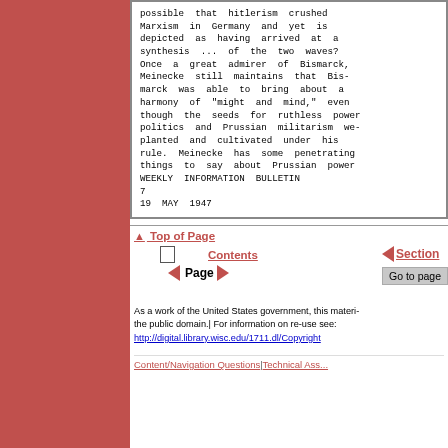possible that hitlerism crushed Marxism in Germany and yet is depicted as having arrived at a synthesis ... of the two waves? Once a great admirer of Bismarck, Meinecke still maintains that Bismarck was able to bring about a harmony of "might and mind," even though the seeds for ruthless power politics and Prussian militarism were planted and cultivated under his rule. Meinecke has some penetrating things to say about Prussian power
WEEKLY INFORMATION BULLETIN
7
19 MAY 1947
▲ Top of Page
Contents | ◄ Section | ◄ Page ► | Go to page
As a work of the United States government, this material is in the public domain.| For information on re-use see: http://digital.library.wisc.edu/1711.dl/Copyright
Content/Navigation Questions | Technical Assistance